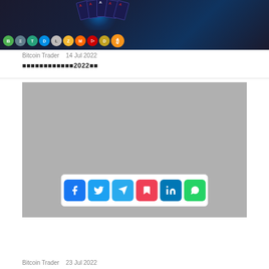[Figure (photo): Crypto casino image showing playing cards and cryptocurrency coin icons including Bitcoin, Ethereum, Tether, Dash, Litecoin, Zcash, Monero, Tron, and others on a dark background]
Bitcoin Trader   14 Jul 2022
■■■■■■■■■■■■2022■■
[Figure (screenshot): Gray placeholder image with social sharing icons bar at bottom showing Facebook, Twitter, Telegram, Pocket, LinkedIn, and WhatsApp buttons]
Bitcoin Trader   23 Jul 2022